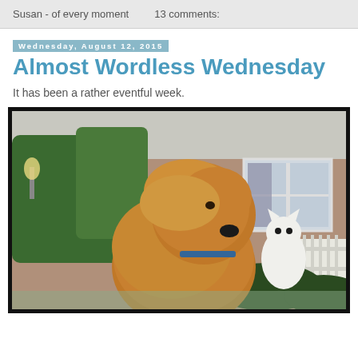Susan - of every moment    13 comments:
Wednesday, August 12, 2015
Almost Wordless Wednesday
It has been a rather eventful week.
[Figure (photo): A fluffy golden-brown dog outdoors, sniffing or interacting with a white cat-shaped object/toy. Background shows a house with a window, trees, a blue water bottle, a teal chair, and white fence.]